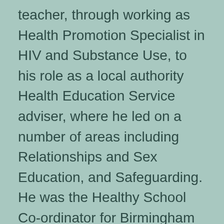teacher, through working as Health Promotion Specialist in HIV and Substance Use, to his role as a local authority Health Education Service adviser, where he led on a number of areas including Relationships and Sex Education, and Safeguarding. He was the Healthy School Co-ordinator for Birmingham for 10 years, and also Regional PSHE Adviser for the West Midlands.
In a step outside of the world of children and young peoples' physical and emotional health, he spent four years managing an initial teacher training provision. He became Head of the